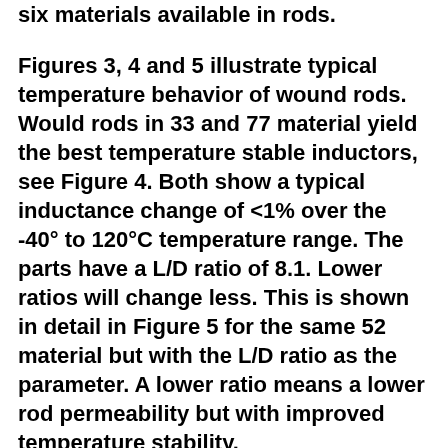six materials available in rods.
Figures 3, 4 and 5 illustrate typical temperature behavior of wound rods. Would rods in 33 and 77 material yield the best temperature stable inductors, see Figure 4. Both show a typical inductance change of <1% over the -40° to 120°C temperature range. The parts have a L/D ratio of 8.1. Lower ratios will change less. This is shown in detail in Figure 5 for the same 52 material but with the L/D ratio as the parameter. A lower ratio means a lower rod permeability but with improved temperature stability.